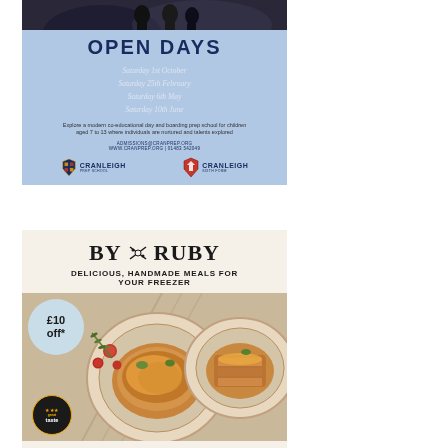[Figure (illustration): Cranleigh School Open Days advertisement with photo of students at top, blue background with dates and logos]
OPEN DAYS
Saturday 1st October
Saturday 25th February
Saturday 6th May
Saturday 10th June
Explore a modern co-educational day and boarding prep school for children aged 7 to 13 where individuals are nurtured and talents explored
ADMISSIONS@CRANPREP.ORG
WWW.CRANPREP.ORG | 01483 542049
[Figure (logo): Cranleigh Prep School and Cranleigh Sixth Form logos]
[Figure (illustration): By Ruby advertisement - Delicious handmade meals for your freezer with food photography]
BY X RUBY
DELICIOUS, HANDMADE MEALS FOR YOUR FREEZER
£10 off*